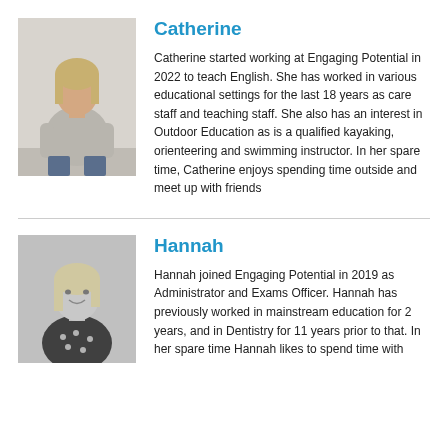[Figure (photo): Photo of Catherine, a woman with long blonde hair wearing a grey sweatshirt and jeans, standing against a white background. Color photo.]
Catherine
Catherine started working at Engaging Potential in 2022 to teach English. She has worked in various educational settings for the last 18 years as care staff and teaching staff. She also has an interest in Outdoor Education as is a qualified kayaking, orienteering and swimming instructor. In her spare time, Catherine enjoys spending time outside and meet up with friends
[Figure (photo): Black and white photo of Hannah, a smiling woman with long blonde/light hair, wearing a polka dot top.]
Hannah
Hannah joined Engaging Potential in 2019 as Administrator and Exams Officer. Hannah has previously worked in mainstream education for 2 years, and in Dentistry for 11 years prior to that. In her spare time Hannah likes to spend time with